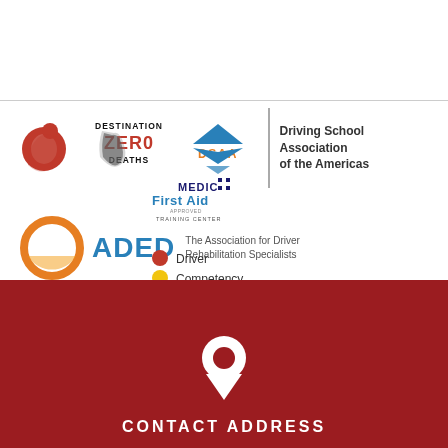[Figure (logo): Red figure/person logo (Q-shaped)]
[Figure (logo): Destination Zero Deaths logo with Louisiana map]
[Figure (logo): DSAA (Driving School Association of the Americas) logo with blue triangle shapes and text]
[Figure (logo): Medic First Aid Training Center logo]
[Figure (logo): ADED - The Association for Driver Rehabilitation Specialists logo with orange circle]
[Figure (logo): Driver Competency Assessment Protocols logo with traffic light circles]
[Figure (illustration): White map/location pin icon on dark red background]
CONTACT ADDRESS